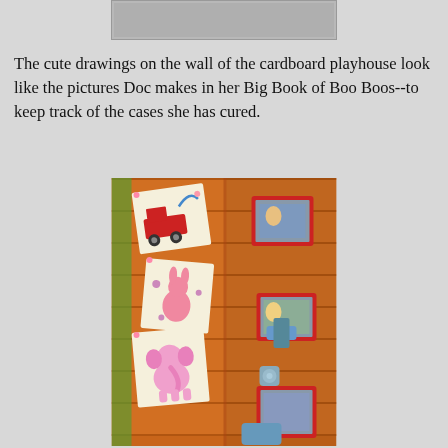[Figure (photo): Top portion of a cropped photo, likely showing the top edge of a cardboard playhouse]
The cute drawings on the wall of the cardboard playhouse look like the pictures Doc makes in her Big Book of Boo Boos--to keep track of the cases she has cured.
[Figure (photo): Photo of a cardboard playhouse wall decorated with children's drawings pinned to an orange wooden-plank-patterned surface. The drawings include a red fire truck, a pink bunny character, and a pink elephant. Red-framed photos with Doc McStuffins characters are also visible on the right side of the wall.]